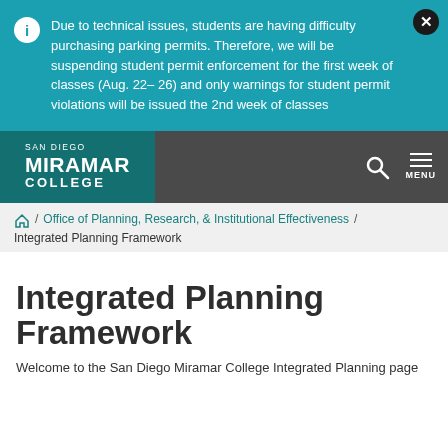Due to technical issues, students are having difficulty purchasing parking permits. Therefore, we will be suspending student permit enforcement for the first week of classes (Aug. 22– 26) and only warnings for student permit violations will be issued the 2nd week of classes
[Figure (logo): San Diego Miramar College logo with teal background and white text]
Office of Planning, Research, & Institutional Effectiveness / Integrated Planning Framework
Integrated Planning Framework
Welcome to the San Diego Miramar College Integrated Planning page